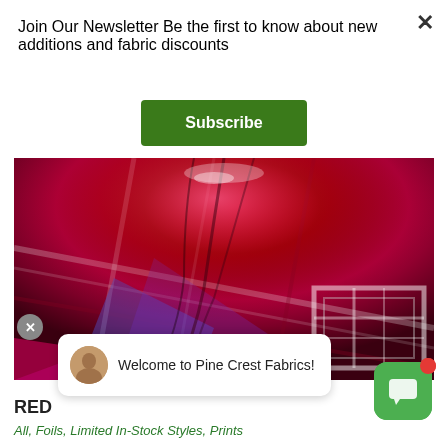Join Our Newsletter Be the first to know about new additions and fabric discounts
Subscribe
[Figure (photo): Close-up of shiny red, pink, blue and white plaid/tartan metallic foil fabric draped in folds]
RED
All, Foils, Limited In-Stock Styles, Prints
Welcome to Pine Crest Fabrics!